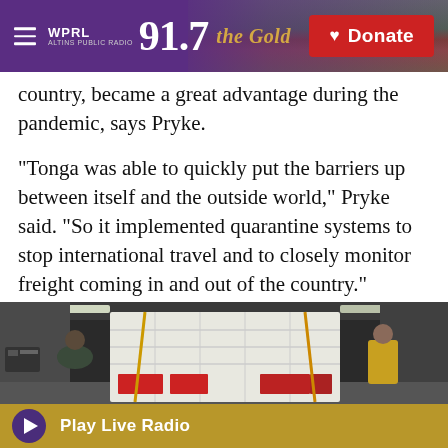WPRL 91.7 The Gold | Donate
country, became a great advantage during the pandemic, says Pryke.
"Tonga was able to quickly put the barriers up between itself and the outside world," Pryke said. "So it implemented quarantine systems to stop international travel and to closely monitor freight coming in and out of the country."
[Figure (photo): Workers loading or unloading large shrink-wrapped cargo pallet inside an aircraft cargo hold. Workers wearing masks and safety vests visible on either side of the pallet.]
Play Live Radio